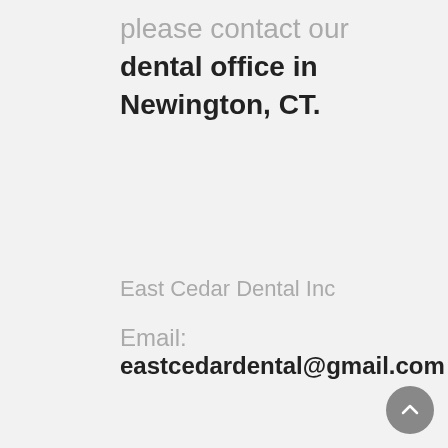please contact our dental office in Newington, CT.
East Cedar Dental Inc
Email: eastcedardental@gmail.com